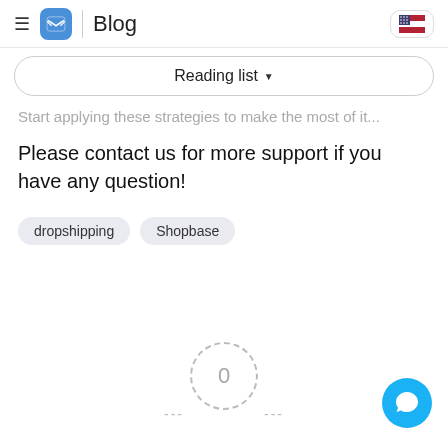Blog
Reading list
Start applying these strategies to make the most of it.
Please contact us for more support if you have any question!
dropshipping
Shopbase